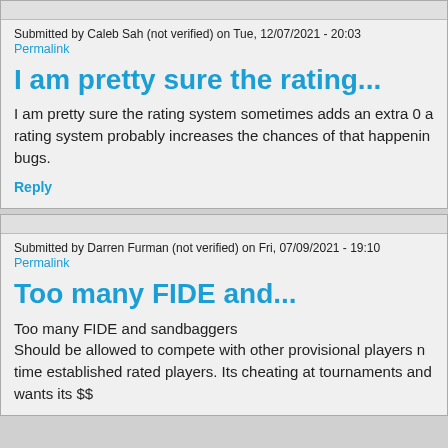Submitted by Caleb Sah (not verified) on Tue, 12/07/2021 - 20:03
Permalink
I am pretty sure the rating...
I am pretty sure the rating system sometimes adds an extra 0 a rating system probably increases the chances of that happening bugs.
Reply
Submitted by Darren Furman (not verified) on Fri, 07/09/2021 - 19:10
Permalink
Too many FIDE and...
Too many FIDE and sandbaggers
Should be allowed to compete with other provisional players n time established rated players. Its cheating at tournaments and wants its $$